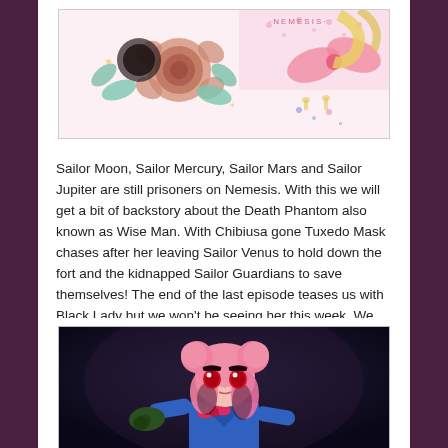[Figure (illustration): Sailor Moon anime/manga style illustration with roses, bows, and floral decorations in pastel colors. Text '-NEMESIS-' visible at top right.]
Sailor Moon, Sailor Mercury, Sailor Mars and Sailor Jupiter are still prisoners on Nemesis. With this we will get a bit of backstory about the Death Phantom also known as Wise Man. With Chibiusa gone Tuxedo Mask chases after her leaving Sailor Venus to hold down the fort and the kidnapped Sailor Guardians to save themselves! The end of the last episode teases us with Black Lady but we won't be seeing her this week. We will only be seeing a sort of proto Black Lady without her iconic black and pink dress.
[Figure (illustration): Anime screenshot of a young girl with pink hair in odango style, red eyes, wearing a blue sailor uniform with a pink bow. Dark background. Character appears to be Chibiusa/Black Lady from Sailor Moon.]